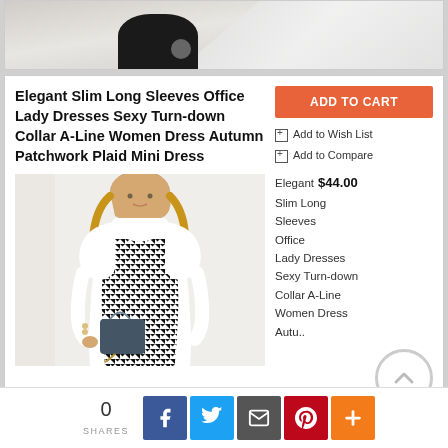[Figure (photo): Top portion of a product image showing a woman in a black and white houndstooth dress, cropped at torso level]
Elegant Slim Long Sleeves Office Lady Dresses Sexy Turn-down Collar A-Line Women Dress Autumn Patchwork Plaid Mini Dress
[Figure (photo): Fashion product photo of a woman wearing a black and white houndstooth sleeveless dress over a white long-sleeve puff-sleeve shirt, holding a dark blue chain purse]
ADD TO CART
Add to Wish List
Add to Compare
Elegant  $44.00 Slim Long Sleeves Office Lady Dresses Sexy Turn-down Collar A-Line Women Dress Autu..
0 SHARES
[Figure (other): Social share buttons: Facebook, Twitter, Email, Pinterest, More (+)]